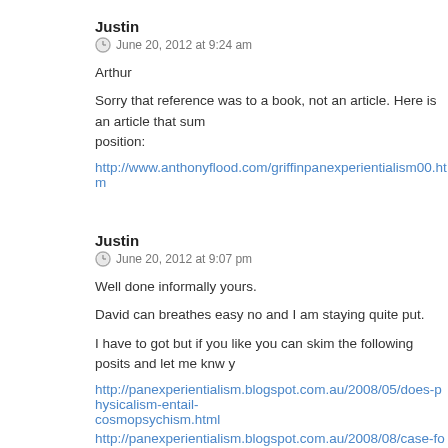Justin
June 20, 2012 at 9:24 am
Arthur
Sorry that reference was to a book, not an article. Here is an article that sum position:
http://www.anthonyflood.com/griffinpanexperientialism00.htm
Justin
June 20, 2012 at 9:07 pm
Well done informally yours.
David can breathes easy no and I am staying quite put.
I have to got but if you like you can skim the following posits and let me knw y
http://panexperientialism.blogspot.com.au/2008/05/does-physicalism-entail-cosmopsychism.html
http://panexperientialism.blogspot.com.au/2008/08/case-for-intelligent-design